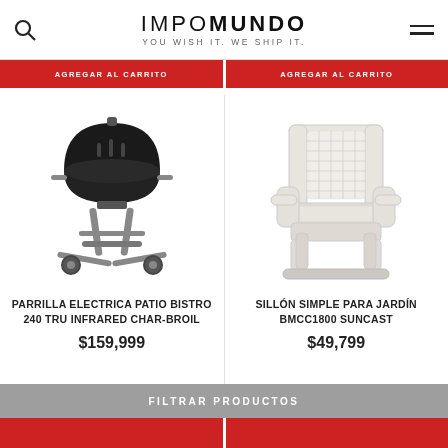IMPOMUNDO — YOU WISH IT. WE SHIP IT.
[Figure (photo): Red AGREGAR AL CARRITO buttons partially visible at top]
[Figure (photo): Black electric Char-Broil Patio Bistro 240 Tru Infrared grill on stand with wheels]
PARRILLA ELECTRICA PATIO BISTRO 240 TRU INFRARED CHAR-BROIL
$159,999
[Figure (photo): White wicker-style outdoor armchair Suncast BMCC1800]
SILLÓN SIMPLE PARA JARDÍN BMCC1800 SUNCAST
$49,799
FILTRAR PRODUCTOS